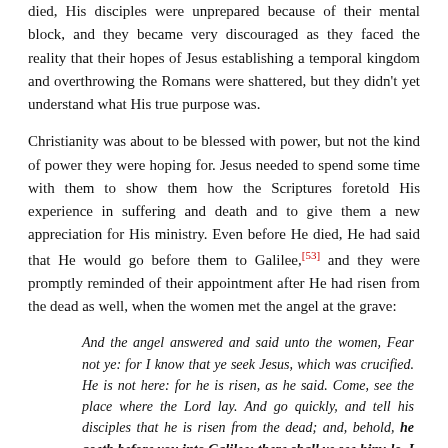died, His disciples were unprepared because of their mental block, and they became very discouraged as they faced the reality that their hopes of Jesus establishing a temporal kingdom and overthrowing the Romans were shattered, but they didn't yet understand what His true purpose was.
Christianity was about to be blessed with power, but not the kind of power they were hoping for. Jesus needed to spend some time with them to show them how the Scriptures foretold His experience in suffering and death and to give them a new appreciation for His ministry. Even before He died, He had said that He would go before them to Galilee,[53] and they were promptly reminded of their appointment after He had risen from the dead as well, when the women met the angel at the grave:
And the angel answered and said unto the women, Fear not ye: for I know that ye seek Jesus, which was crucified. He is not here: for he is risen, as he said. Come, see the place where the Lord lay. And go quickly, and tell his disciples that he is risen from the dead; and, behold, he goeth before you into Galilee; there shall ye see him: lo, I have told you. And they departed quickly from the sepulchre with fear and great joy; and did run to bring his disciples word. And as they went to tell his disciples, behold, Jesus met them, saying, All hail.